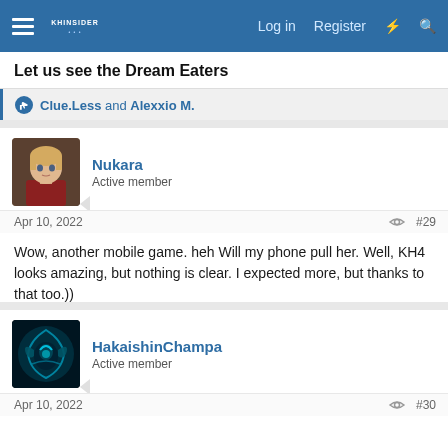Log in  Register
Let us see the Dream Eaters
Clue.Less and Alexxio M.
Nukara
Active member
Apr 10, 2022  #29
Wow, another mobile game. heh Will my phone pull her. Well, KH4 looks amazing, but nothing is clear. I expected more, but thanks to that too.))
HakaishinChampa
Active member
Apr 10, 2022  #30